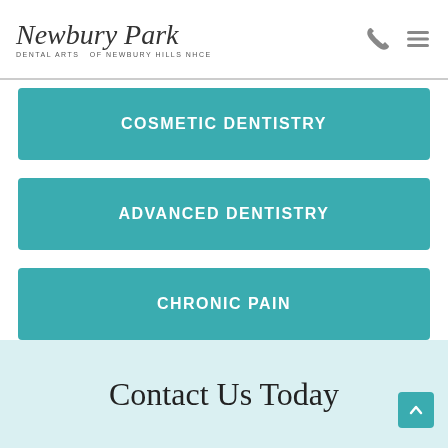[Figure (logo): Newbury Park Dental Arts logo with script font and subtitle text]
COSMETIC DENTISTRY
ADVANCED DENTISTRY
CHRONIC PAIN
Contact Us Today